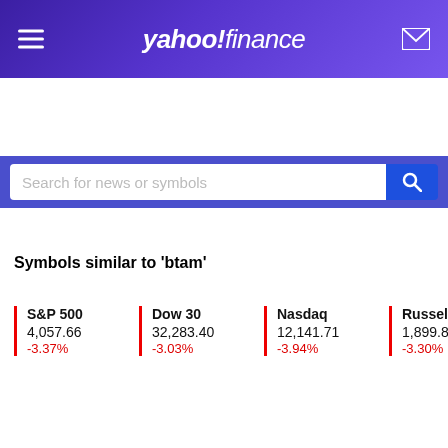yahoo! finance
Search for news or symbols
S&P 500
4,057.66
-3.37%  Dow 30
32,283.40
-3.03%  Nasdaq
12,141.71
-3.94%  Russell 2000
1,899.83
-3.30%
Symbols similar to 'btam'
All (17)  Stocks (14)  Mutual Funds (0)  ETFs (3)
Indices (0)  Futures (0)  Currencies (0)
| Symbol | Name | Last
Price | Industry / C |
| --- | --- | --- | --- |
| BEAM | Beam Therapeutics Inc. | 56.26 | Healthca |
| BAM | Brookfield Asset Management... | 40.10 | Fina... |